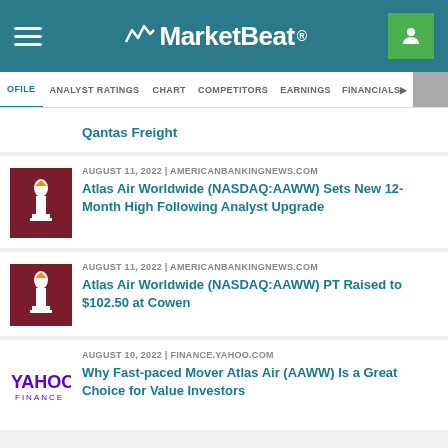MarketBeat
PROFILE | ANALYST RATINGS | CHART | COMPETITORS | EARNINGS | FINANCIALS
Qantas Freight
AUGUST 11, 2022 | AMERICANBANKINGNEWS.COM
Atlas Air Worldwide (NASDAQ:AAWW) Sets New 12-Month High Following Analyst Upgrade
AUGUST 11, 2022 | AMERICANBANKINGNEWS.COM
Atlas Air Worldwide (NASDAQ:AAWW) PT Raised to $102.50 at Cowen
AUGUST 10, 2022 | FINANCE.YAHOO.COM
Why Fast-paced Mover Atlas Air (AAWW) Is a Great Choice for Value Investors